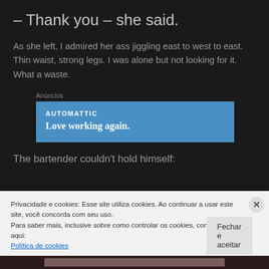– Thank you – she said.
As she left, I admired her ass jiggling east to west to east. Thin waist, strong legs. I was alone but not looking for it. What a waste.
[Figure (other): Automattic advertisement banner with blue background. Text: 'AUTOMATTIC' and 'Love working again.']
The bartender couldn't hold himself:
Privacidade e cookies: Esse site utiliza cookies. Ao continuar a usar este site, você concorda com seu uso.
Para saber mais, inclusive sobre como controlar os cookies, consulte aqui:
Política de cookies
Fechar e aceitar